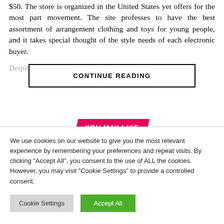$50. The store is organized in the United States yet offers for the most part movement. The site professes to have the best assortment of arrangement clothing and toys for young people, and it takes special thought of the style needs of each electronic buyer.
Despite [faded text] ...working environ... ...this rate
CONTINUE READING
YOU MAY LIKE
We use cookies on our website to give you the most relevant experience by remembering your preferences and repeat visits. By clicking "Accept All", you consent to the use of ALL the cookies. However, you may visit "Cookie Settings" to provide a controlled consent.
Cookie Settings
Accept All